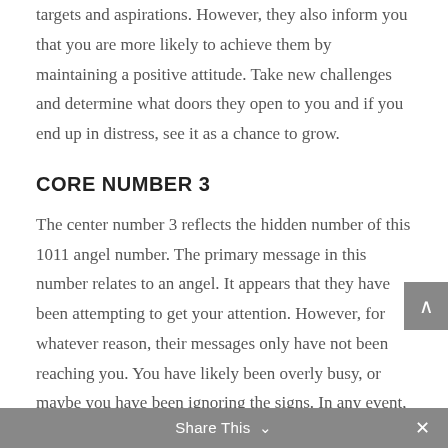targets and aspirations. However, they also inform you that you are more likely to achieve them by maintaining a positive attitude. Take new challenges and determine what doors they open to you and if you end up in distress, see it as a chance to grow.
CORE NUMBER 3
The center number 3 reflects the hidden number of this 1011 angel number. The primary message in this number relates to an angel. It appears that they have been attempting to get your attention. However, for whatever reason, their messages only have not been reaching you. You have likely been overly busy, or maybe you have been ignoring the signs. In any event, they are pleased
Share This ∨  ✕